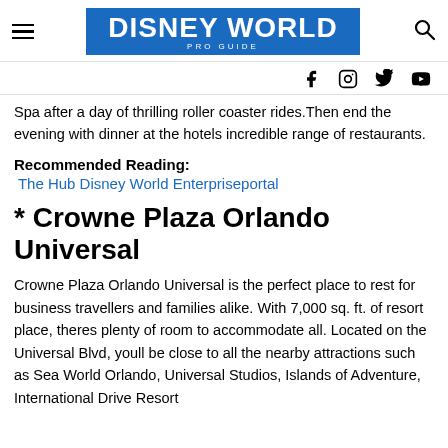DISNEY WORLD PRO GUIDE
Spa after a day of thrilling roller coaster rides. Then end the evening with dinner at the hotels incredible range of restaurants.
Recommended Reading:
The Hub Disney World Enterpriseportal
* Crowne Plaza Orlando Universal
Crowne Plaza Orlando Universal is the perfect place to rest for business travellers and families alike. With 7,000 sq. ft. of resort place, theres plenty of room to accommodate all. Located on the Universal Blvd, youll be close to all the nearby attractions such as Sea World Orlando, Universal Studios, Islands of Adventure, International Drive Resort